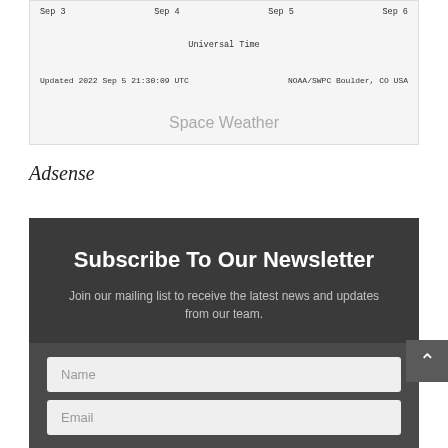[Figure (screenshot): Partial screenshot of a space weather chart from NOAA/SWPC Boulder, CO USA. Shows date labels (Sep 3, Sep 4, Sep 5, Sep 6) along the top with 'Universal Time' label, an 'Updated 2022 Sep 5 21:30:09 UTC' timestamp on the left, 'NOAA/SWPC Boulder, CO USA' on the right, and 'Space Weather' text in the center on a light gray background.]
Adsense
Subscribe To Our Newsletter
Join our mailing list to receive the latest news and updates from our team.